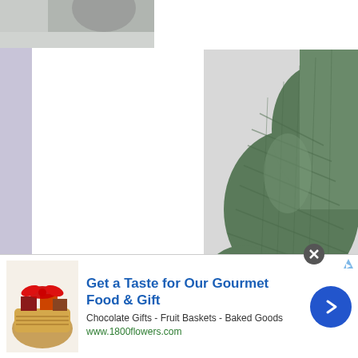[Figure (photo): Top partial photo showing a gloved hand or winter scene against a light background]
[Figure (photo): Close-up photograph of green/olive knitted wool mittens or gloves, showing textured ribbed knit pattern against a light grey background]
[Figure (photo): Bottom partial photo showing green mittens/gloves, partially visible]
[Figure (photo): Advertisement image showing a gift basket with food items including chocolates and baked goods with a red bow]
Get a Taste for Our Gourmet Food & Gift
Chocolate Gifts - Fruit Baskets - Baked Goods
www.1800flowers.com